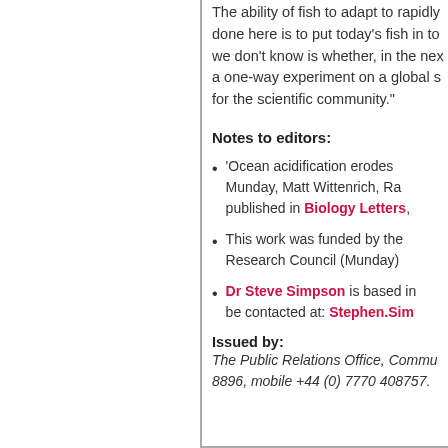The ability of fish to adapt to rapidly... done here is to put today's fish in to... we don't know is whether, in the nex... a one-way experiment on a global s... for the scientific community."
Notes to editors:
'Ocean acidification erodes... Munday, Matt Wittenrich, Ra... published in Biology Letters,
This work was funded by the... Research Council (Munday)
Dr Steve Simpson is based in... be contacted at: Stephen.Sim...
Issued by:
The Public Relations Office, Commu... 8896, mobile +44 (0) 7770 408757.